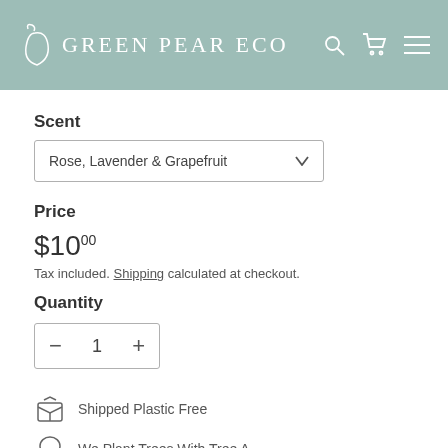GREEN PEAR ECO
Scent
Rose, Lavender & Grapefruit
Price
$10.00
Tax included. Shipping calculated at checkout.
Quantity
1
Shipped Plastic Free
We Plant Trees With Tree A...